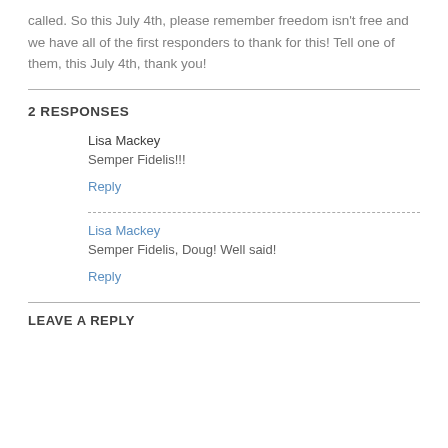called. So this July 4th, please remember freedom isn't free and we have all of the first responders to thank for this! Tell one of them, this July 4th, thank you!
2 RESPONSES
Lisa Mackey
Semper Fidelis!!!
Reply
Lisa Mackey
Semper Fidelis, Doug! Well said!
Reply
LEAVE A REPLY